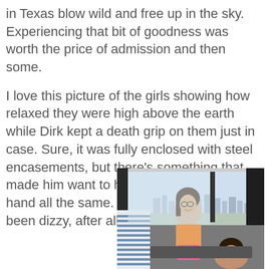in Texas blow wild and free up in the sky. Experiencing that bit of goodness was worth the price of admission and then some.
I love this picture of the girls showing how relaxed they were high above the earth while Dirk kept a death grip on them just in case. Sure, it was fully enclosed with steel encasements, but there’s something that made him want to hold them with his own hand all the same. They might have still been dizzy, after all.
[Figure (photo): Photo of two girls inside a tall observation tower or revolving restaurant, with a city skyline visible through large windows behind them. A girl with glasses and a pink/orange outfit is smiling in the foreground; another girl is partially visible in the lower right. A man in a striped shirt is partially visible on the left.]